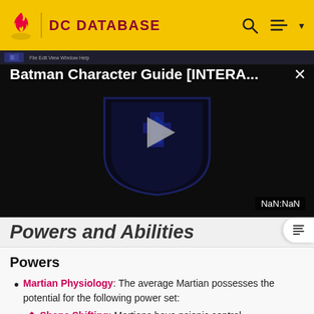DC DATABASE
[Figure (screenshot): Embedded video player showing Batman Character Guide [INTERA...] with a play button over a dark DC Comics logo shield graphic. Time display shows NaN:NaN.]
Powers and Abilities
Powers
Martian Physiology: The average Martian possesses the potential for the following power set:
Shape Shifting: Martians have psionic control